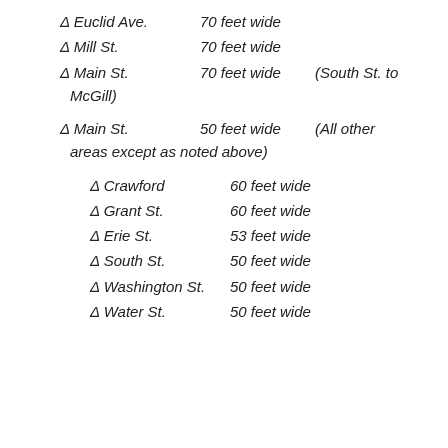△ Euclid Ave.    70 feet wide
△ Mill St.    70 feet wide
△ Main St.    70 feet wide    (South St. to McGill)
△ Main St.    50 feet wide    (All other areas except as noted above)
△ Crawford    60 feet wide
△ Grant St.    60 feet wide
△ Erie St.    53 feet wide
△ South St.    50 feet wide
△ Washington St.    50 feet wide
△ Water St.    50 feet wide